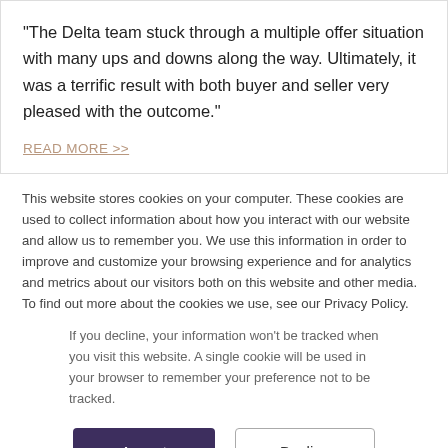“The Delta team stuck through a multiple offer situation with many ups and downs along the way. Ultimately, it was a terrific result with both buyer and seller very pleased with the outcome.”
READ MORE >>
This website stores cookies on your computer. These cookies are used to collect information about how you interact with our website and allow us to remember you. We use this information in order to improve and customize your browsing experience and for analytics and metrics about our visitors both on this website and other media. To find out more about the cookies we use, see our Privacy Policy.
If you decline, your information won’t be tracked when you visit this website. A single cookie will be used in your browser to remember your preference not to be tracked.